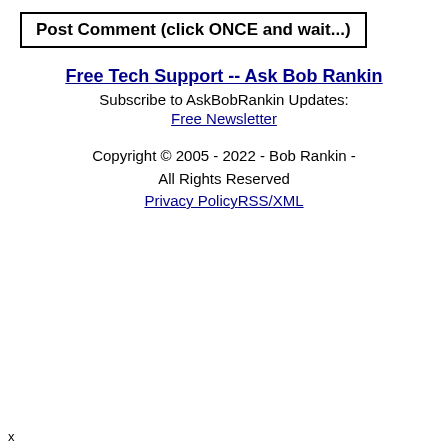Post Comment (click ONCE and wait...)
Free Tech Support -- Ask Bob Rankin
Subscribe to AskBobRankin Updates:
Free Newsletter
Copyright © 2005 - 2022 - Bob Rankin - All Rights Reserved
Privacy PolicyRSS/XML
x